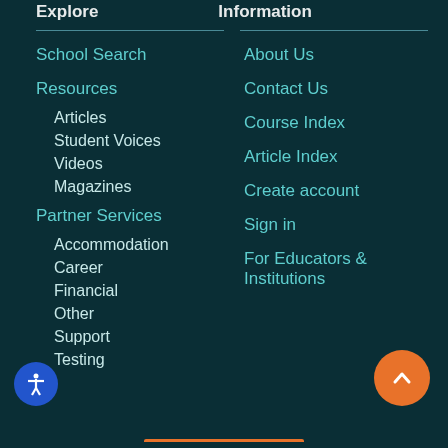Explore  Information
School Search
Resources
Articles
Student Voices
Videos
Magazines
Partner Services
Accommodation
Career
Financial
Other
Support
Testing
About Us
Contact Us
Course Index
Article Index
Create account
Sign in
For Educators & Institutions